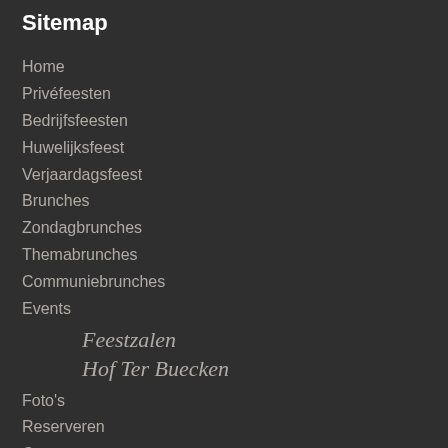Sitemap
Home
Privéfeesten
Bedrijfsfeesten
Huwelijksfeest
Verjaardagsfeest
Brunches
Zondagbrunches
Themabrunches
Communiebrunches
Events
Feestzalen Hof Ter Buecken
Foto's
Reserveren
Contact
Cadeaubon